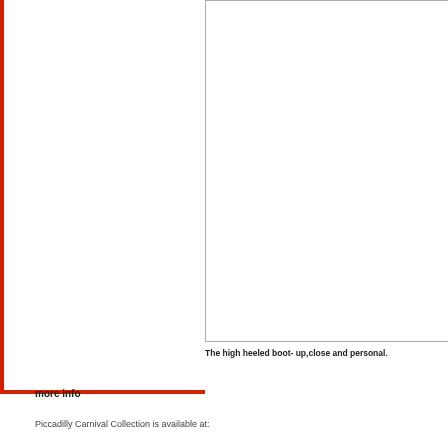[Figure (photo): A large white rectangular image placeholder box for a high heeled boot photo, close up view.]
The high heeled boot- up,close and personal.
more info
Piccadilly Carnival Collection is available at: